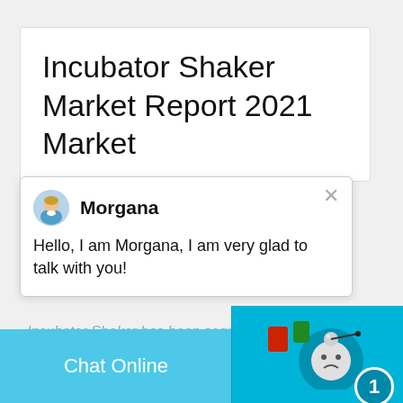Incubator Shaker Market Report 2021 Market
[Figure (screenshot): Chat popup with avatar of agent named Morgana saying: Hello, I am Morgana, I am very glad to talk with you! with a close (X) button]
Incubator Shaker has been segmented into Microbiology, Tissue culture, Cell culture
[Figure (screenshot): Blue Get Quote button]
[Figure (screenshot): Right side blue chat widget with emoji, badge showing 1, Click me to chat button, Enquiry label, and cywaitml@gmail.com text]
Chat Online
cywaitml @gmail.com